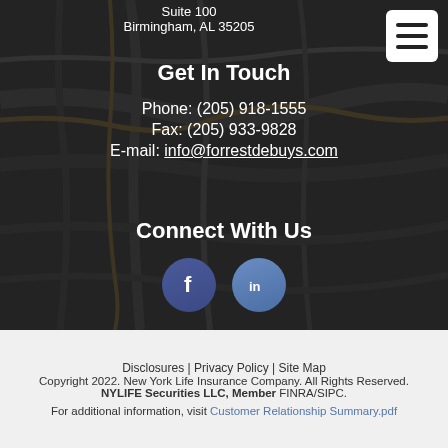[Figure (map): Darkened road map showing Birmingham, Alabama area with surrounding cities including Homewood, Vestavia Hills, Hoover, Alabaster, Fultondale, Fairfield, Midfield]
Suite 100
Birmingham, AL 35205
Get In Touch
Phone: (205) 918-1555
Fax: (205) 933-9828
E-mail: info@forrestdebuys.com
Connect With Us
[Figure (logo): Facebook and LinkedIn social media icon buttons]
Disclosures | Privacy Policy | Site Map
Copyright 2022. New York Life Insurance Company. All Rights Reserved.
NYLIFE Securities LLC, Member FINRA/SIPC.
For additional information, visit Customer Relationship Summary.pdf